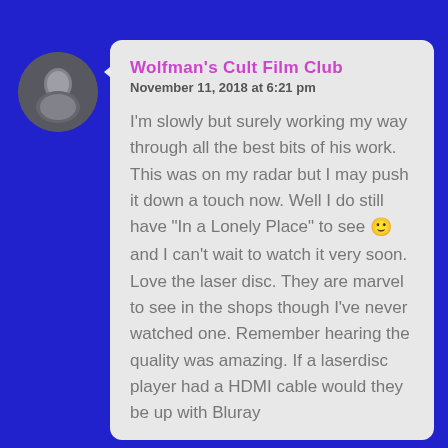[Figure (photo): Circular avatar photo of a person crouching, dark background]
Wolfman's Cult Film Club
November 11, 2018 at 6:21 pm
I'm slowly but surely working my way through all the best bits of his work. This was on my radar but I may push it down a touch now. Well I do still have "In a Lonely Place" to see 🙂 and I can't wait to watch it very soon.
Love the laser disc. They are marvel to see in the shops though I've never watched one. Remember hearing the quality was amazing. If a laserdisc player had a HDMI cable would they be up with Bluray